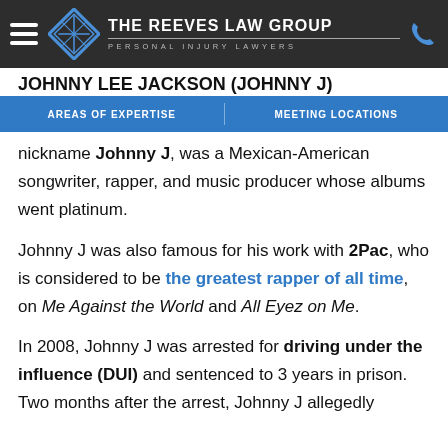THE REEVES LAW GROUP — PERSONAL INJURY LAWYERS
JOHNNY LEE JACKSON (JOHNNY J)
AREAS OF EXPERTISE | MEETING LOCATIONS
Johnny Lee Jackson, best known for his professional nickname Johnny J, was a Mexican-American songwriter, rapper, and music producer whose albums went platinum.
Johnny J was also famous for his work with 2Pac, who is considered to be the greatest rapper of all time, on Me Against the World and All Eyez on Me.
In 2008, Johnny J was arrested for driving under the influence (DUI) and sentenced to 3 years in prison. Two months after the arrest, Johnny J allegedly